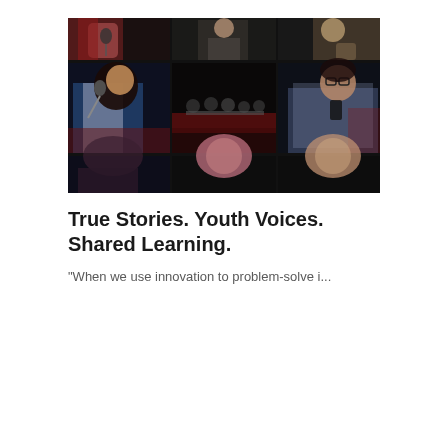[Figure (photo): Composite photo collage showing youth speaking at microphones on a dark stage. Top row shows three cropped images of performers/speakers. Middle row shows a girl with long dark hair speaking at a microphone on the left, a dark stage with people seated in background in the center, and a person in plaid shirt with glasses on the right. Bottom row shows partial images of additional participants. Dark, dramatic stage lighting throughout.]
True Stories. Youth Voices. Shared Learning.
"When we use innovation to problem-solve i...